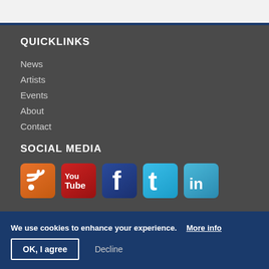QUICKLINKS
News
Artists
Events
About
Contact
SOCIAL MEDIA
[Figure (infographic): Social media icons: RSS feed (orange), YouTube (red), Facebook (dark blue), Twitter (light blue), LinkedIn (teal/blue)]
We use cookies to enhance your experience. More info
OK, I agree   Decline